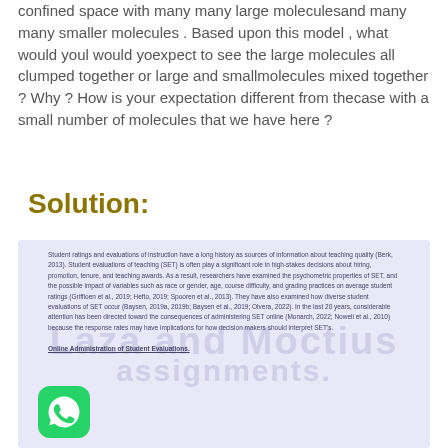confined space with many many large moleculesand many many smaller molecules . Based upon this model , what would youl would yoexpect to see the large molecules all clumped together or large and smallmolecules mixed together ? Why ? How is your expectation different from thecase with a small number of molecules that we have here ?
Solution:
[Figure (screenshot): Blurred/watermarked academic text content with WhatsApp icon overlay, showing a passage about student ratings and evaluations of instruction, with watermark text 'Laza and Moctius assignments' and a WhatsApp logo in bottom left corner.]